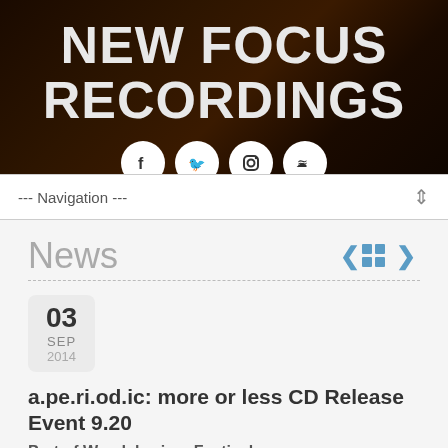[Figure (logo): New Focus Recordings website header with large bold white text on dark brown/black background, with circular social media icons (Facebook, Twitter, Instagram, SoundCloud) below the title]
--- Navigation ---
News
03 SEP 2014
a.pe.ri.od.ic: more or less CD Release Event 9.20
Part of Wandelweiser Festival